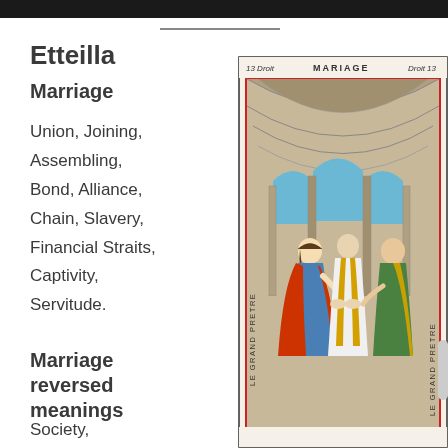Etteilla
Marriage
Union, Joining, Assembling, Bond, Alliance, Chain, Slavery, Financial Straits, Captivity, Servitude.
Marriage reversed meanings
Society,
[Figure (illustration): Tarot card number 13 labeled MARIAGE and LE GRAND PRETRE showing a marriage ceremony inside a stone archway. A priest in yellow robes joins the hands of a woman in red/blue robes and a man in green robes.]